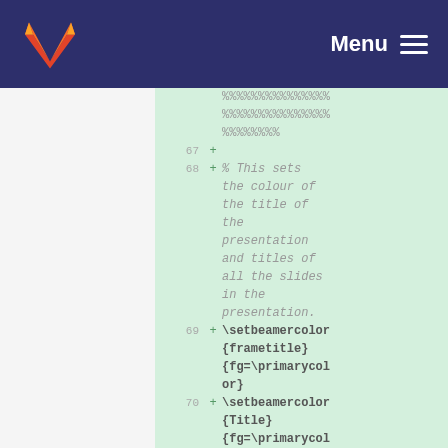GitLab Menu
67 +
68 + % This sets the colour of the title of the presentation and titles of all the slides in the presentation.
69 + \setbeamercolor {frametitle} {fg=\primarycolor}
70 + \setbeamercolor {Title} {fg=\primarycol